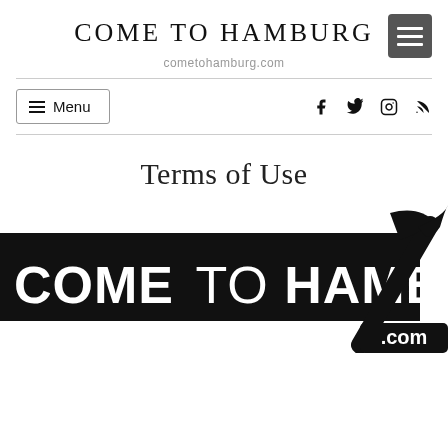COME TO HAMBURG
cometohamburg.com
[Figure (infographic): Navigation bar with Menu button on left and social media icons (Facebook, Twitter, Instagram, RSS) on right]
Terms of Use
[Figure (logo): Come To Hamburg logo: black banner with white bold text 'COME TO HAMBURG' and a hammer graphic with .com label]